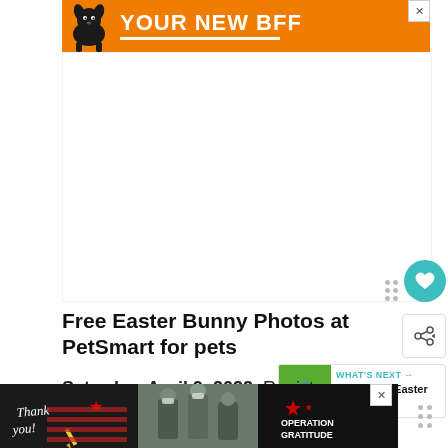[Figure (other): Orange advertisement banner with a dog image and text YOUR NEW BFF with a white underline]
[Figure (other): Large white/empty ad content area below the top banner]
[Figure (other): Teal heart button (favorite/like) floating on right side]
[Figure (other): Share icon button on right side]
Free Easter Bunny Photos at PetSmart for pets
[Figure (other): What's Next panel showing Easterville Easter Egg... with a colorful Easter eggs image thumbnail]
Saturday, April 9, 2022. Register your pets photo taken with the Easter
[Figure (other): Bottom advertisement banner with thank you military / Operation Gratitude imagery on dark background]